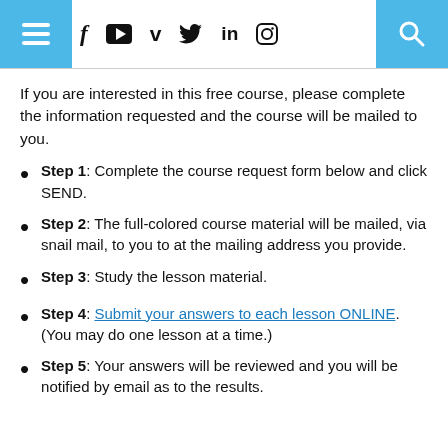Navigation header with menu, social icons (f, YouTube, Vimeo, Twitter, LinkedIn, Instagram), and search button
If you are interested in this free course, please complete the information requested and the course will be mailed to you.
Step 1: Complete the course request form below and click SEND.
Step 2: The full-colored course material will be mailed, via snail mail, to you to at the mailing address you provide.
Step 3: Study the lesson material.
Step 4: Submit your answers to each lesson ONLINE. (You may do one lesson at a time.)
Step 5: Your answers will be reviewed and you will be notified by email as to the results.